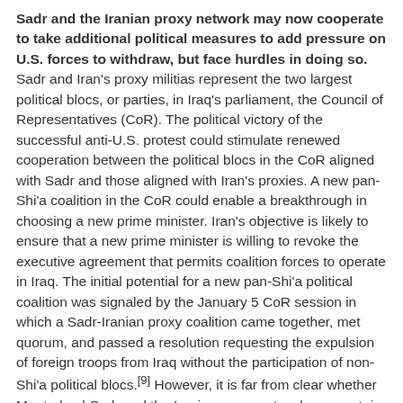Sadr and the Iranian proxy network may now cooperate to take additional political measures to add pressure on U.S. forces to withdraw, but face hurdles in doing so. Sadr and Iran's proxy militias represent the two largest political blocs, or parties, in Iraq's parliament, the Council of Representatives (CoR). The political victory of the successful anti-U.S. protest could stimulate renewed cooperation between the political blocs in the CoR aligned with Sadr and those aligned with Iran's proxies. A new pan-Shi'a coalition in the CoR could enable a breakthrough in choosing a new prime minister. Iran's objective is likely to ensure that a new prime minister is willing to revoke the executive agreement that permits coalition forces to operate in Iraq. The initial potential for a new pan-Shi'a political coalition was signaled by the January 5 CoR session in which a Sadr-Iranian proxy coalition came together, met quorum, and passed a resolution requesting the expulsion of foreign troops from Iraq without the participation of non-Shi'a political blocs.[9] However, it is far from clear whether Moqtada al-Sadr and the Iranian proxy network can sustain their political cooperation.